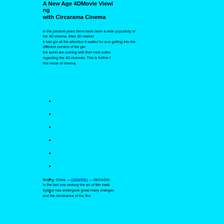A New Age 4DMovie Viewing with Circarama Cinema
In the present years there have been a wide popularity of the 4D cinema. After 3D market it had got all the attention it waited for and getting into the different corners of the globe. the world are coming with their best collections regarding the 4D cinemas. This is further increasing this mode of cinema.
Beijing, China — (SBWIRE) — 08/24/201 In the last one century the art of film making system has undergone great many changes and the dominance of the art that the film